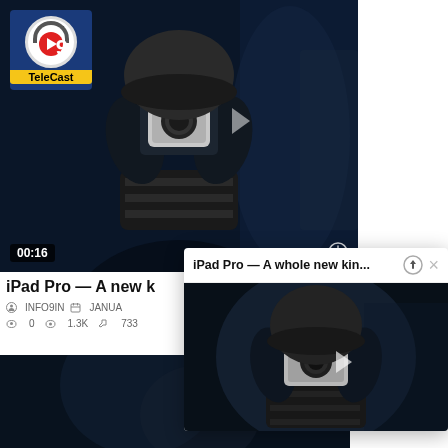[Figure (screenshot): Video thumbnail showing a person in dark clothing and beanie hat holding a camera up to their face, set against a dark blue background. TeleCast logo in top-left corner, timestamp '00:16' in bottom-left, clock icon in bottom-right.]
iPad Pro — A new k
INFO9IN  JANUA
0  1.3K  733
[Figure (screenshot): Second video thumbnail (partially visible), dark blue toned background.]
[Figure (screenshot): Popup card with title 'iPad Pro — A whole new kin...' with up arrow and X buttons, containing a video thumbnail of person with camera against dark blue background with play button overlay.]